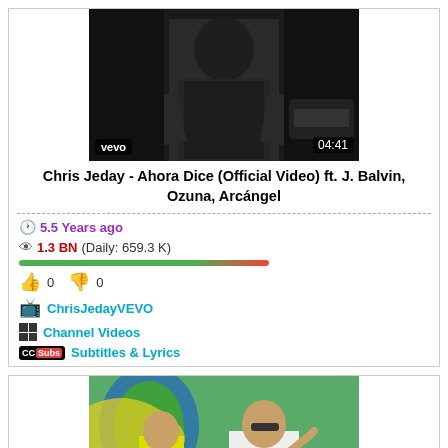[Figure (screenshot): Video thumbnail for Chris Jeday - Ahora Dice (Official Video), black and white image of person, vevo badge, duration 04:41]
Chris Jeday - Ahora Dice (Official Video) ft. J. Balvin, Ozuna, Arcángel
5.5 Years ago
1.3 BN (Daily: 659.3 K)
0  0
ChrisJedayVEVO
Channel Videos
Subtitles & Lyrics
[Figure (screenshot): Video thumbnail for Vaina Loca - Ozuna x Manuel Turizo (Video Oficial), colorful graffiti background with two men, duration 03:59]
Vaina Loca - Ozuna x Manuel Turizo (Video Oficial)
4.2 Years ago